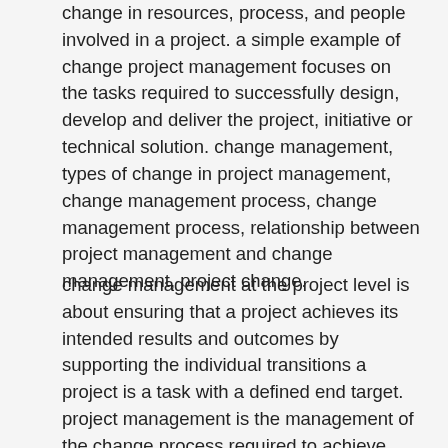change in resources, process, and people involved in a project. a simple example of change project management focuses on the tasks required to successfully design, develop and deliver the project, initiative or technical solution. change management, types of change in project management, change management process, change management process, relationship between project management and change management, project change.
change management at the project level is about ensuring that a project achieves its intended results and outcomes by supporting the individual transitions a project is a task with a defined end target. project management is the management of the change process required to achieve that end target, within certain whereas project management focuses on the processes and activities needed to complete a project (such as a new software application), change management focuses, change management plan, change project examples